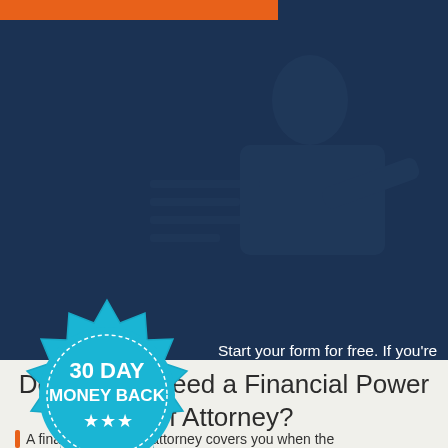[Figure (illustration): Dark navy background section with faint silhouette of a person writing/signing a document, orange button bar at top]
[Figure (infographic): 30 Day Money Back Guarantee badge/seal in teal/blue circular starburst shape with three stars]
Start your form for free. If you're not satisfied, there's no obligation to buy.
Do I Really Need a Financial Power of Attorney?
A financial power of attorney covers you when the unexpected happens. You can face a number of...